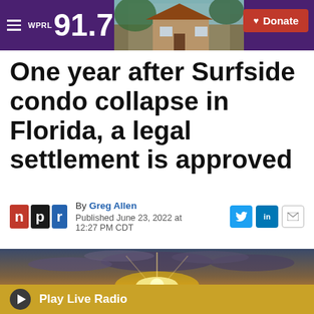91.7 WPRL the Gold | ♥ Donate
One year after Surfside condo collapse in Florida, a legal settlement is approved
By Greg Allen
Published June 23, 2022 at 12:27 PM CDT
[Figure (photo): Sunset over ocean with dramatic cloudy sky]
Play Live Radio